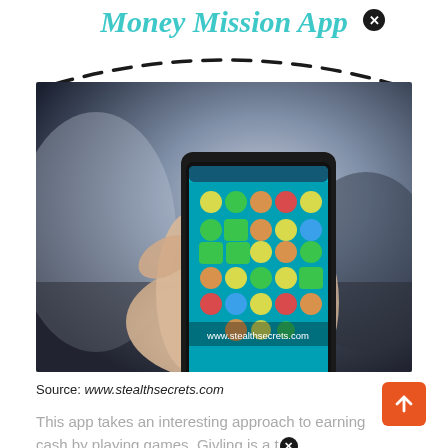Money Mission App ✕
[Figure (photo): Hand holding a smartphone displaying a Candy Crush-style match-3 mobile game, photographed in a car interior with blurred background. Watermark reads www.stealthsecrets.com]
Source: www.stealthsecrets.com
This app takes an interesting approach to earning cash by playing games. Givling is a tr...